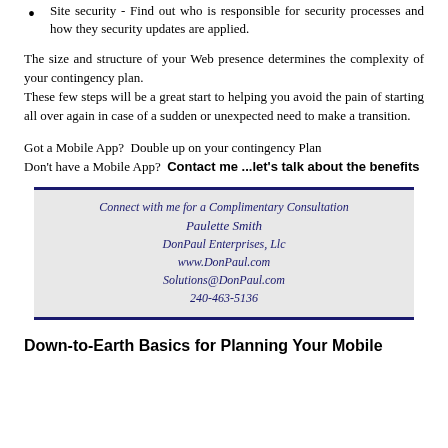Site security - Find out who is responsible for security processes and how they security updates are applied.
The size and structure of your Web presence determines the complexity of your contingency plan.
These few steps will be a great start to helping you avoid the pain of starting all over again in case of a sudden or unexpected need to make a transition.
Got a Mobile App?  Double up on your contingency Plan
Don't have a Mobile App?  Contact me ...let's talk about the benefits
[Figure (infographic): Contact card for Paulette Smith at DonPaul Enterprises, LLC with website www.DonPaul.com, email Solutions@DonPaul.com, phone 240-463-5136. Dark blue top and bottom border, gray background, italic blue serif text.]
Down-to-Earth Basics for Planning Your Mobile